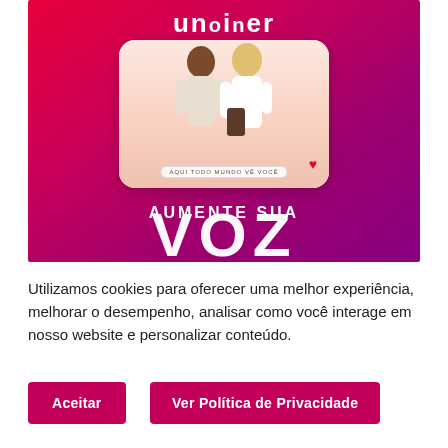[Figure (illustration): Advertisement image with red/magenta gradient background showing two women shopping and looking at a phone, displayed inside a phone frame mockup. Logo 'unolner' at top in white, text 'AQUI TODO MUNDO VÊ VOCÊ' inside phone frame, 'AUMENTE SUA' and large 'VOZ' text at bottom of the image.]
Utilizamos cookies para oferecer uma melhor experiência, melhorar o desempenho, analisar como você interage em nosso website e personalizar conteúdo.
Aceitar
Ver Política de Privacidade